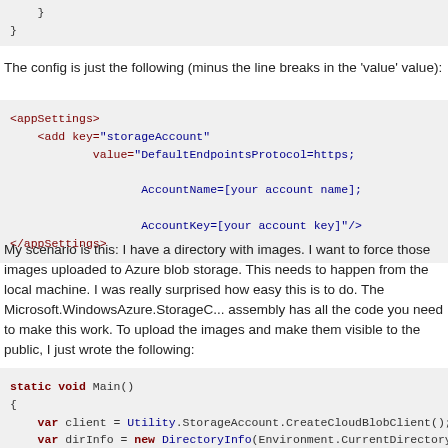[Figure (screenshot): Code block showing closing braces of a code block: closing brace indented and then a final closing brace]
The config is just the following (minus the line breaks in the 'value' value):
[Figure (screenshot): XML config block showing appSettings with add key='storageAccount' value='DefaultEndpointsProtocol=https; AccountName=[your account name]; AccountKey=[your account key]'/> and closing /appSettings>]
My scenario is this: I have a directory with images. I want to force those images uploaded to Azure blob storage. This needs to happen from the local machine. I was really surprised how easy this is to do. The Microsoft.WindowsAzure.StorageClient assembly has all the code you need to make this work. To upload the images and make them visible to the public, I just wrote the following:
[Figure (screenshot): C# code block showing static void Main() { var client = Utility.StorageAccount.CreateCloudBlobClient(); var dirInfo = new DirectoryInfo(Environment.CurrentDirectory); var cloudContainer = new CloudBlobContainer("friseton", clie...]